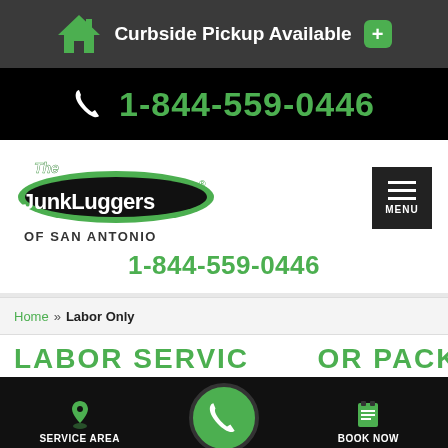Curbside Pickup Available
1-844-559-0446
[Figure (logo): The Junkluggers of San Antonio logo — oval black badge with green border and stylized text]
1-844-559-0446
Home » Labor Only
LABOR SERVICE FOR PACKING
SERVICE AREA   BOOK NOW